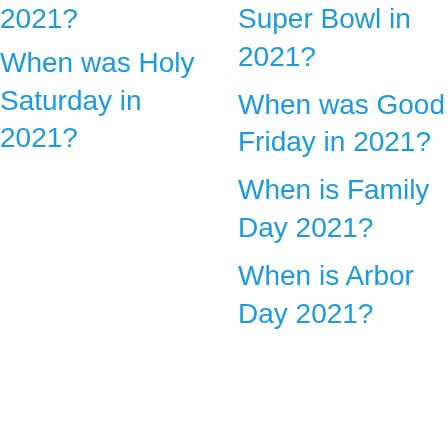2021?
When was Holy Saturday in 2021?
Super Bowl in 2021?
When was Good Friday in 2021?
When is Family Day 2021?
When is Arbor Day 2021?